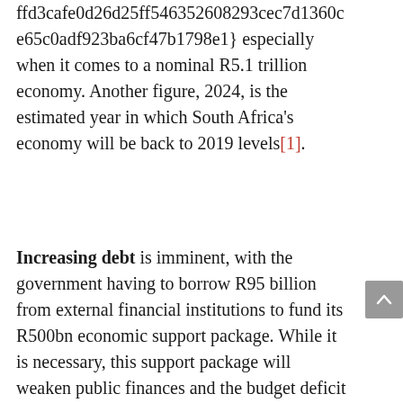ffd3cafe0d26d25ff546352608293cec7d1360ce65c0adf923ba6cf47b1798e1} especially when it comes to a nominal R5.1 trillion economy. Another figure, 2024, is the estimated year in which South Africa's economy will be back to 2019 levels[1].
Increasing debt is imminent, with the government having to borrow R95 billion from external financial institutions to fund its R500bn economic support package. While it is necessary, this support package will weaken public finances and the budget deficit is now expected at 13.5{fdf3cafe0d26d25ff546352608293cec7d1360ce65c0adf923ba6cf47b1798e1} of GDP in the 2020 fiscal year, up from an estimated 8.5{fdf3cafe0d26d25ff546352608293cec7d1360ce65c0adf923ba6cf47b1798e1}. Furthermore, the country's debt burden is expected to be 15 percentage points higher, or